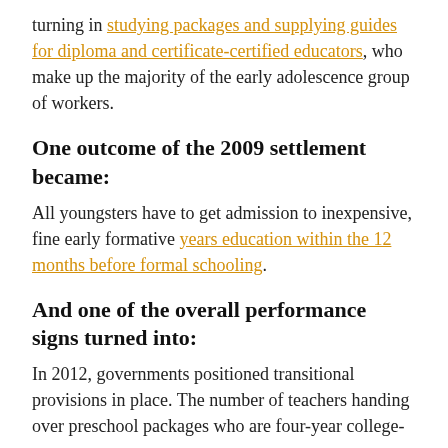turning in studying packages and supplying guides for diploma and certificate-certified educators, who make up the majority of the early adolescence group of workers.
One outcome of the 2009 settlement became:
All youngsters have to get admission to inexpensive, fine early formative years education within the 12 months before formal schooling.
And one of the overall performance signs turned into:
In 2012, governments positioned transitional provisions in place. The number of teachers handing over preschool packages who are four-year college-